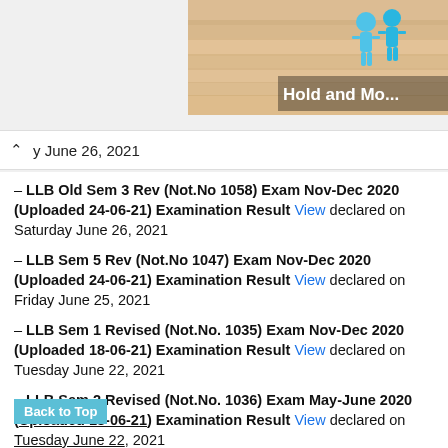[Figure (screenshot): Top banner with illustrated characters and 'Hold and Mo...' text on right side]
^ y June 26, 2021
– LLB Old Sem 3 Rev (Not.No 1058) Exam Nov-Dec 2020 (Uploaded 24-06-21) Examination Result View declared on Saturday June 26, 2021
– LLB Sem 5 Rev (Not.No 1047) Exam Nov-Dec 2020 (Uploaded 24-06-21) Examination Result View declared on Friday June 25, 2021
– LLB Sem 1 Revised (Not.No. 1035) Exam Nov-Dec 2020 (Uploaded 18-06-21) Examination Result View declared on Tuesday June 22, 2021
– LLB Sem 2 Revised (Not.No. 1036) Exam May-June 2020 (Uploaded 18-06-21) Examination Result View declared on Tuesday June 22, 2021
Back to Top